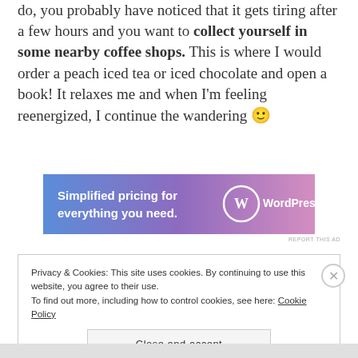do, you probably have noticed that it gets tiring after a few hours and you want to collect yourself in some nearby coffee shops. This is where I would order a peach iced tea or iced chocolate and open a book! It relaxes me and when I'm feeling reenergized, I continue the wandering 🙂
[Figure (other): WordPress.com advertisement banner: 'Simplified pricing for everything you need.' with WordPress.com logo on a blue-to-purple gradient background.]
REPORT THIS AD
Privacy & Cookies: This site uses cookies. By continuing to use this website, you agree to their use.
To find out more, including how to control cookies, see here: Cookie Policy
Close and accept